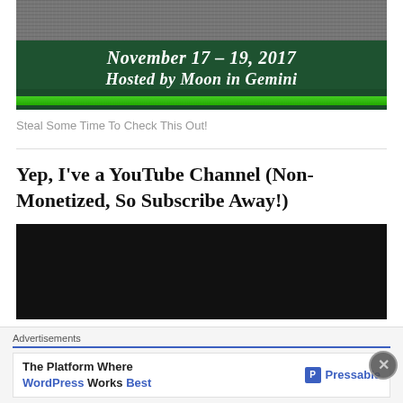[Figure (illustration): Dark green banner with photo at top, bold italic white text reading 'November 17 – 19, 2017' and 'Hosted by Moon in Gemini', with a green gradient bar at the bottom]
Steal Some Time To Check This Out!
Yep, I've a YouTube Channel (Non-Monetized, So Subscribe Away!)
[Figure (screenshot): Black video embed placeholder]
Advertisements
The Platform Where WordPress Works Best — Pressable